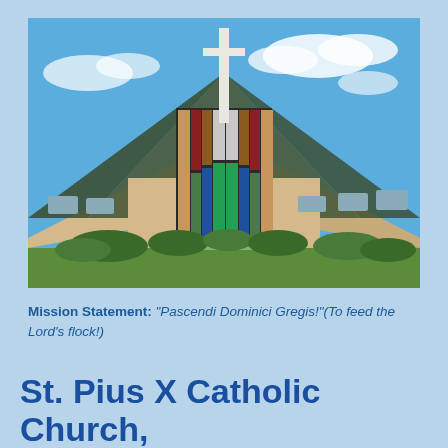[Figure (photo): Exterior photograph of St. Pius X Catholic Church building. The church has a distinctive A-frame / triangular roof design with colorful stained glass panels in the center front facade. A tall white cross rises above the roofline against a blue sky with white clouds. The building is cream/tan colored with rectangular windows on the sides and green bushes at the base.]
Mission Statement: "Pascendi Dominici Gregis!"(To feed the Lord's flock!)
St. Pius X Catholic Church,